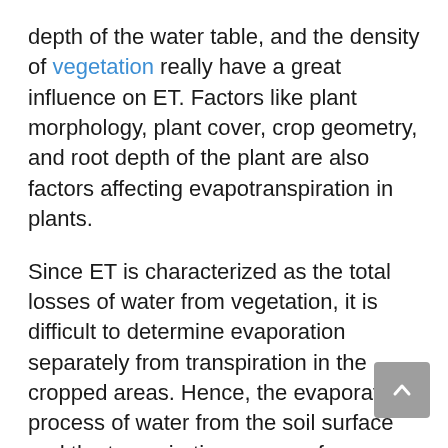depth of the water table, and the density of vegetation really have a great influence on ET. Factors like plant morphology, plant cover, crop geometry, and root depth of the plant are also factors affecting evapotranspiration in plants.
Since ET is characterized as the total losses of water from vegetation, it is difficult to determine evaporation separately from transpiration in the cropped areas. Hence, the evaporation process of water from the soil surface and the transpiration process from plants are combined in the single term evapotranspiration.